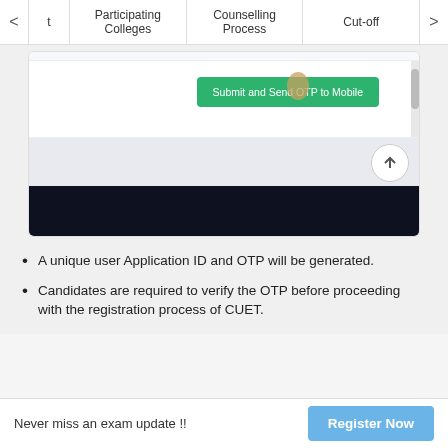< t | Participating Colleges | Counselling Process | Cut-off >
[Figure (screenshot): Screenshot of a registration form page showing a green 'Submit and Send OTP to Mobile' button with a finger icon, a scrollbar on the right, and a dark navigation bar at the bottom with an up-arrow button.]
A unique user Application ID and OTP will be generated.
Candidates are required to verify the OTP before proceeding with the registration process of CUET.
Never miss an exam update !!  Register Now